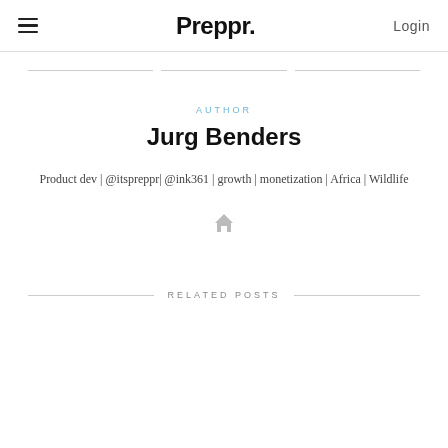Preppr. | Login
AUTHOR
Jurg Benders
Product dev | @itspreppr| @ink361 | growth | monetization | Africa | Wildlife
RELATED POSTS